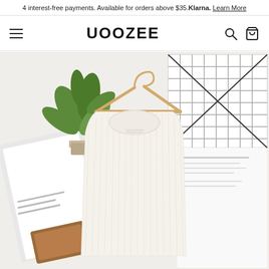4 interest-free payments. Available for orders above $35. Klarna. Learn More
UOOZEE
[Figure (photo): White ribbed knit sleeveless tank top displayed on a wooden hanger against a white background with a grid-lined notebook, a green plant, and scattered magazines/papers.]